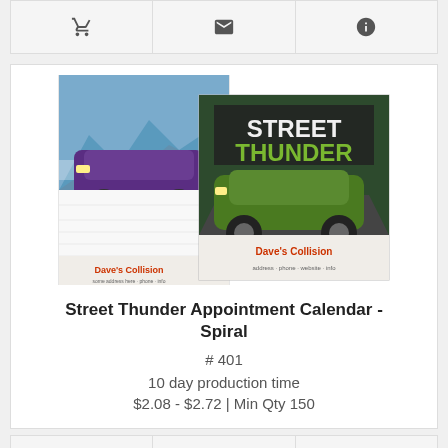[Figure (screenshot): Top navigation bar with shopping cart icon, envelope/email icon, and info icon]
[Figure (photo): Street Thunder Appointment Calendar product image showing two calendar covers: one featuring a purple muscle car on a mountain road and another showing a green muscle car with 'STREET THUNDER' text, both branded with 'Dave's Collision']
Street Thunder Appointment Calendar - Spiral
# 401
10 day production time
$2.08 - $2.72 | Min Qty 150
[Figure (screenshot): Bottom navigation bar with shopping cart icon, envelope/email icon, and info icon]